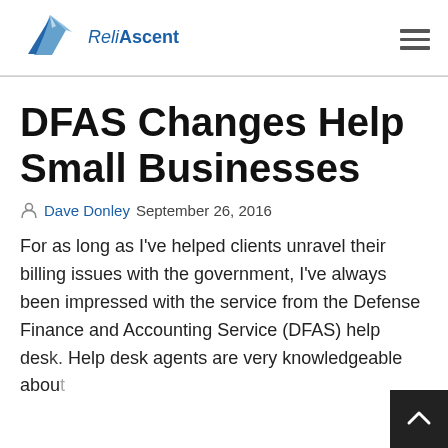ReliAscent
DFAS Changes Help Small Businesses
Dave Donley September 26, 2016
For as long as I've helped clients unravel their billing issues with the government, I've always been impressed with the service from the Defense Finance and Accounting Service (DFAS) help desk. Help desk agents are very knowledgeable abou